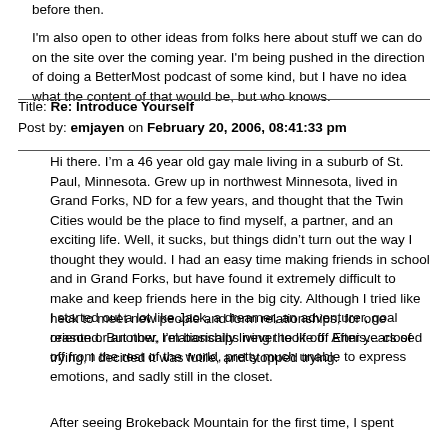before then.
I'm also open to other ideas from folks here about stuff we can do on the site over the coming year.  I'm being pushed in the direction of doing a BetterMost podcast of some kind, but I have no idea what the content of that would be, but who knows.
Title: Re: Introduce Yourself
Post by: emjayen on February 20, 2006, 08:41:33 pm
Hi there.  Iâ€™m a 46 year old gay male living in a suburb of St. Paul, Minnesota.  Grew up in northwest Minnesota, lived in Grand Forks, ND for a few years, and thought that the Twin Cities would be the place to find myself, a partner, and an exciting life.  Well, it sucks, but things didnâ€™t turn out the way I thought they would.  I had an easy time making friends in school and in Grand Forks, but have found it extremely difficult to make and keep friends here in the big city.  Although I tried like heck to meet new people and form relationships, for one reason or another, relationships never took off.  After years of trying, I decided it was futile, and stopped trying.
I started out a lot like Jack, a dreamer, an adventurer, goal oriented.  But now, Iâ€™m basically living the life of Ennisâ€¦ closed off from the rest of the world, pretty much unable to express emotions, and sadly still in the closet.
After seeing Brokeback Mountain for the first time, I spent